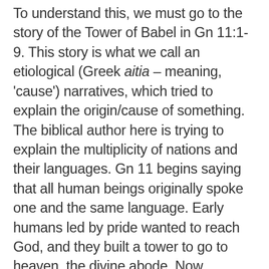To understand this, we must go to the story of the Tower of Babel in Gn 11:1-9. This story is what we call an etiological (Greek aitia – meaning, 'cause') narratives, which tried to explain the origin/cause of something. The biblical author here is trying to explain the multiplicity of nations and their languages. Gn 11 begins saying that all human beings originally spoke one and the same language. Early humans led by pride wanted to reach God, and they built a tower to go to heaven, the divine abode. Now, Yahweh came down to see the city and the tower that the people had built. God said that they are up to this kind of enterprises because they are a single people who communicate using one single language. They will do worse things in the future at this